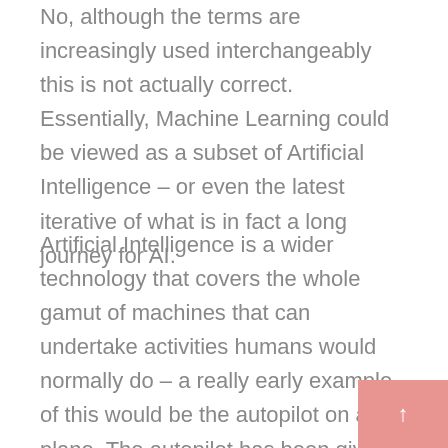No, although the terms are increasingly used interchangeably this is not actually correct. Essentially, Machine Learning could be viewed as a subset of Artificial Intelligence – or even the latest iterative of what is in fact a long journey for AI.
Artificial Intelligence is a wider technology that covers the whole gamut of machines that can undertake activities humans would normally do – a really early example of this would be the autopilot on a plane. The autopilot has been given a series of programmed instructions on how to deal with specific scenarios and can hold a steady course by 'Intelligently'